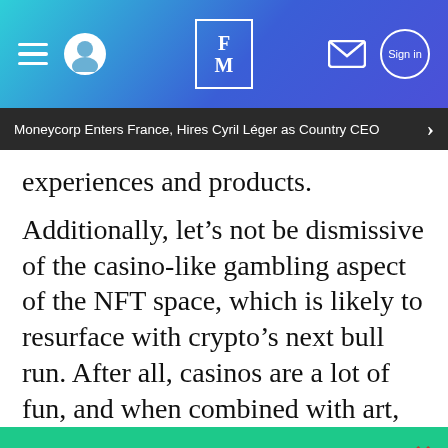FM (Finance Magnates) header with navigation
Moneycorp Enters France, Hires Cyril Léger as Country CEO
experiences and products.
Additionally, let's not be dismissive of the casino-like gambling aspect of the NFT space, which is likely to resurface with crypto's next bull run. After all, casinos are a lot of fun, and when combined with art,
ANNOUNCEMENT: The online registration for The London Summit that will take place from the 21st to the 23rd of November is now open!
GET YOUR PASS →